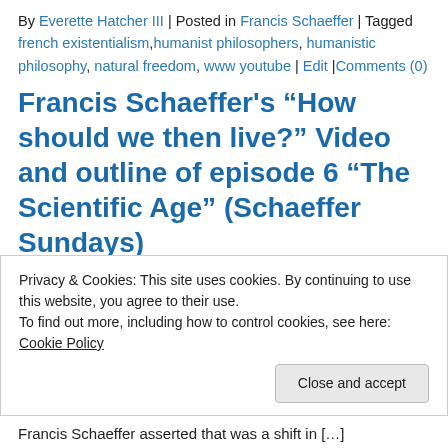By Everette Hatcher III | Posted in Francis Schaeffer | Tagged french existentialism, humanist philosophers, humanistic philosophy, natural freedom, www youtube | Edit | Comments (0)
Francis Schaeffer's "How should we then live?" Video and outline of episode 6 "The Scientific Age" (Schaeffer Sundays)
Francis Schaeffer asserted that was a shift in [...]
Privacy & Cookies: This site uses cookies. By continuing to use this website, you agree to their use. To find out more, including how to control cookies, see here: Cookie Policy